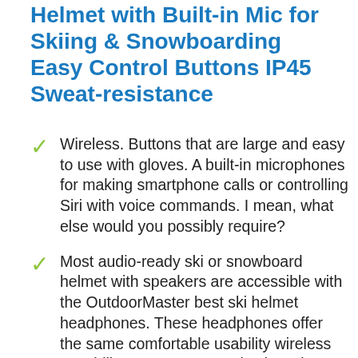Helmet with Built-in Mic for Skiing & Snowboarding Easy Control Buttons IP45 Sweat-resistance
Wireless. Buttons that are large and easy to use with gloves. A built-in microphones for making smartphone calls or controlling Siri with voice commands. I mean, what else would you possibly require?
Most audio-ready ski or snowboard helmet with speakers are accessible with the OutdoorMaster best ski helmet headphones. These headphones offer the same comfortable usability wireless capability as more expensive brands at a lower price. These